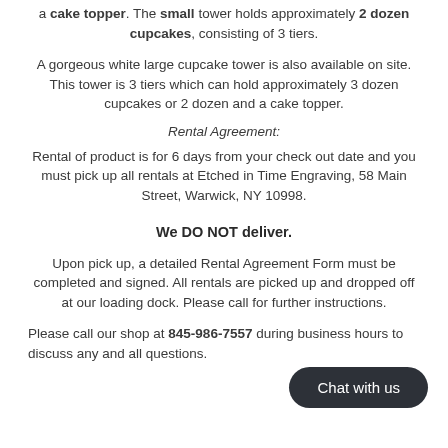a cake topper. The small tower holds approximately 2 dozen cupcakes, consisting of 3 tiers.
A gorgeous white large cupcake tower is also available on site. This tower is 3 tiers which can hold approximately 3 dozen cupcakes or 2 dozen and a cake topper.
Rental Agreement:
Rental of product is for 6 days from your check out date and you must pick up all rentals at Etched in Time Engraving, 58 Main Street, Warwick, NY 10998.
We DO NOT deliver.
Upon pick up, a detailed Rental Agreement Form must be completed and signed. All rentals are picked up and dropped off at our loading dock. Please call for further instructions.
Please call our shop at 845-986-7557 during business hours to discuss any and all questions.